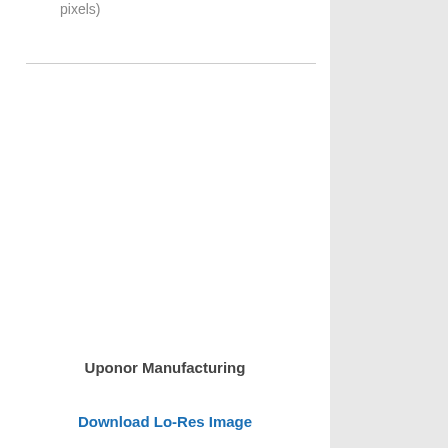pixels)
Uponor Manufacturing
Download Lo-Res Image